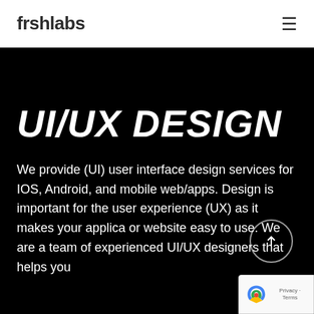frshlabs
UI/UX DESIGN
We provide (UI) user interface design services for IOS, Android, and mobile web/apps. Design is important for the user experience (UX) as it makes your applic... or website easy to use. We are a team of experienced UI/UX designers that helps you...